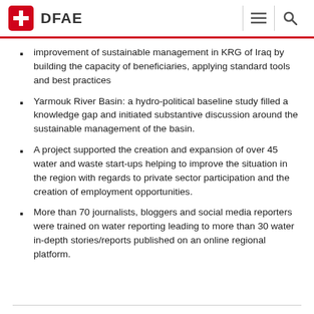DFAE
improvement of sustainable management in KRG of Iraq by building the capacity of beneficiaries, applying standard tools and best practices
Yarmouk River Basin: a hydro-political baseline study filled a knowledge gap and initiated substantive discussion around the sustainable management of the basin.
A project supported the creation and expansion of over 45 water and waste start-ups helping to improve the situation in the region with regards to private sector participation and the creation of employment opportunities.
More than 70 journalists, bloggers and social media reporters were trained on water reporting leading to more than 30 water in-depth stories/reports published on an online regional platform.